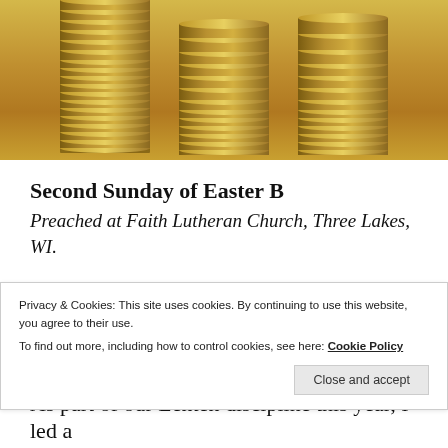[Figure (photo): Stacked gold/bronze coins photographed close-up against a warm golden background]
Second Sunday of Easter B
Preached at Faith Lutheran Church, Three Lakes, WI.
Acts 4:32-35
Psalm 133
Privacy & Cookies: This site uses cookies. By continuing to use this website, you agree to their use. To find out more, including how to control cookies, see here: Cookie Policy
As part of our Lenten discipline this year, I led a